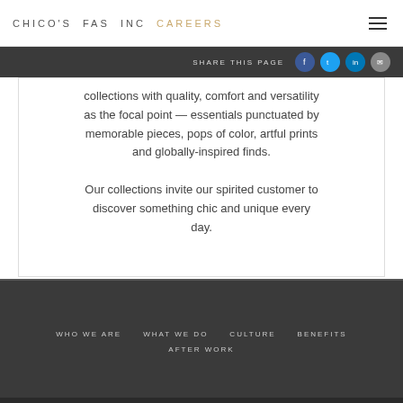CHICO'S FAS INC CAREERS
SHARE THIS PAGE
collections with quality, comfort and versatility as the focal point — essentials punctuated by memorable pieces, pops of color, artful prints and globally-inspired finds.

Our collections invite our spirited customer to discover something chic and unique every day.
WHO WE ARE   WHAT WE DO   CULTURE   BENEFITS   AFTER WORK